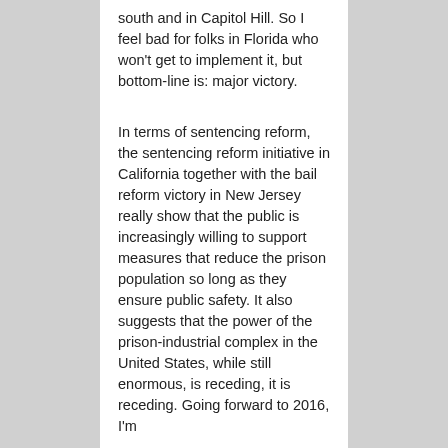south and in Capitol Hill. So I feel bad for folks in Florida who won't get to implement it, but bottom-line is: major victory.
In terms of sentencing reform, the sentencing reform initiative in California together with the bail reform victory in New Jersey really show that the public is increasingly willing to support measures that reduce the prison population so long as they ensure public safety. It also suggests that the power of the prison-industrial complex in the United States, while still enormous, is receding, it is receding. Going forward to 2016, I'm